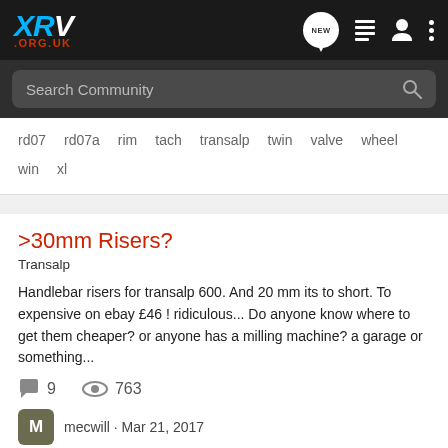XRV .ORG.UK
Search Community
rd07  rd07a  rim  tach  transalp  twin  valve  wheel  win  xl
>30mm Risers?
Transalp
Handlebar risers for transalp 600. And 20 mm its to short. To expensive on ebay £46 ! ridiculous... Do anyone know where to get them cheaper? or anyone has a milling machine? a garage or something...
9  763
mecwill · Mar 21, 2017
cheaper  ebay  expensive  garage  gt  hem  machine  mm  rw  ridiculous  risers  xs